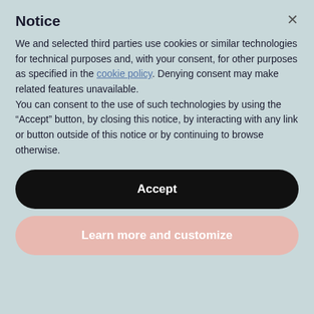Notice
We and selected third parties use cookies or similar technologies for technical purposes and, with your consent, for other purposes as specified in the cookie policy. Denying consent may make related features unavailable.
You can consent to the use of such technologies by using the “Accept” button, by closing this notice, by interacting with any link or button outside of this notice or by continuing to browse otherwise.
Accept
Learn more and customize
Great design by your son too!
KRISS says